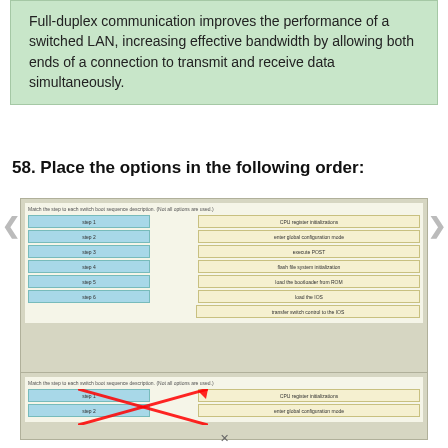Full-duplex communication improves the performance of a switched LAN, increasing effective bandwidth by allowing both ends of a connection to transmit and receive data simultaneously.
58. Place the options in the following order:
[Figure (screenshot): Screenshot of a drag-and-drop question interface showing switch boot sequence steps. Left column has 'step 1' through 'step 6' (cyan boxes). Right column has options: CPU register initializations, enter global configuration mode, execute POST, flash file system initialization, load the bootloader from ROM, load the IOS, transfer switch control to the IOS. Also shows number 13 in red/orange and itexamanswers.net watermark.]
[Figure (screenshot): Second screenshot showing partial answer with red X crossing out step 1 connecting to CPU register initializations, and step 2 to enter global configuration mode.]